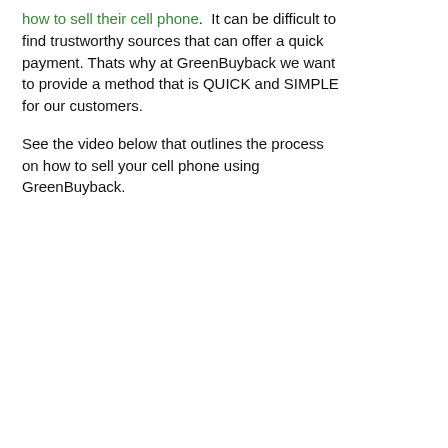how to sell their cell phone.  It can be difficult to find trustworthy sources that can offer a quick payment. Thats why at GreenBuyback we want to provide a method that is QUICK and SIMPLE for our customers.
See the video below that outlines the process on how to sell your cell phone using GreenBuyback.